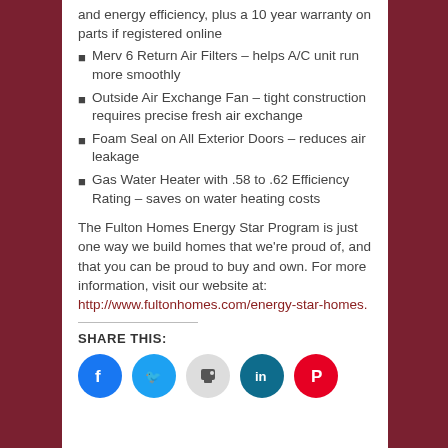and energy efficiency, plus a 10 year warranty on parts if registered online
Merv 6 Return Air Filters – helps A/C unit run more smoothly
Outside Air Exchange Fan – tight construction requires precise fresh air exchange
Foam Seal on All Exterior Doors – reduces air leakage
Gas Water Heater with .58 to .62 Efficiency Rating – saves on water heating costs
The Fulton Homes Energy Star Program is just one way we build homes that we're proud of, and that you can be proud to buy and own. For more information, visit our website at: http://www.fultonhomes.com/energy-star-homes.
SHARE THIS:
[Figure (infographic): Social media share icons: Facebook (blue), Twitter (light blue), Print (gray), LinkedIn (teal), Pinterest (red)]